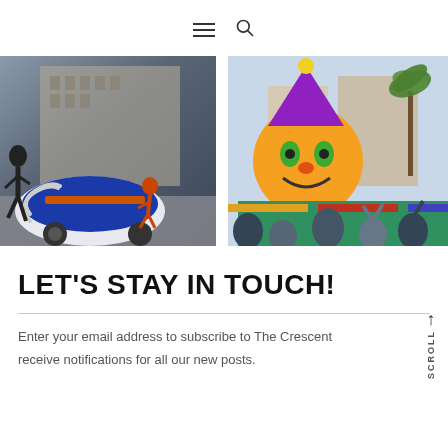Navigation icons: hamburger menu and search
[Figure (photo): Two side-by-side photos. Left: people running near a large blue and orange football helmet-shaped vehicle on a city sidewalk. Right: Mardi Gras parade float with colorful jester face, crowd watching, palm trees and buildings in background.]
LET'S STAY IN TOUCH!
Enter your email address to subscribe to The Crescent receive notifications for all our new posts.